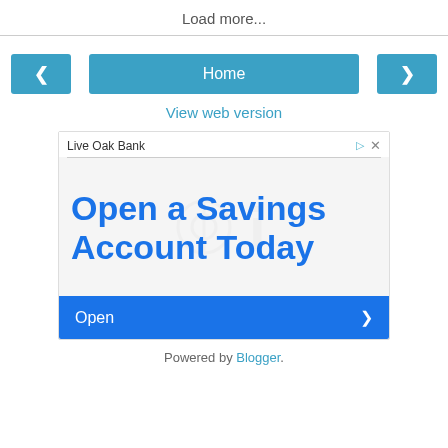Load more...
< Home >
View web version
[Figure (screenshot): Advertisement for Live Oak Bank showing 'Open a Savings Account Today' with an Open button]
Powered by Blogger.